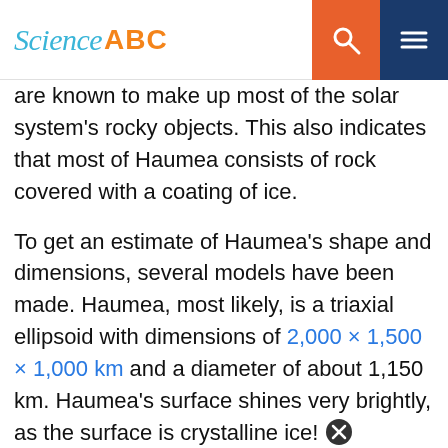Science ABC
are known to make up most of the solar system's rocky objects. This also indicates that most of Haumea consists of rock covered with a coating of ice.
To get an estimate of Haumea's shape and dimensions, several models have been made. Haumea, most likely, is a triaxial ellipsoid with dimensions of 2,000 × 1,500 × 1,000 km and a diameter of about 1,150 km. Haumea's surface shines very brightly, as the surface is crystalline ice!
On January 21, 2017, during a stellar